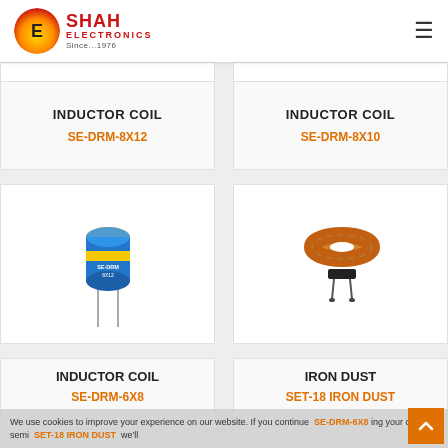Shah Electronics – Since...1976
INDUCTOR COIL
SE-DRM-8X12
INDUCTOR COIL
SE-DRM-8X10
[Figure (photo): Blue cylindrical inductor coil component with two leads (SE-DRM-8X12)]
[Figure (photo): Toroidal iron dust inductor coil with copper wire winding on black base (SE-DRM-8X10)]
INDUCTOR COIL
SE-DRM-6X8
IRON DUST
SET-18 IRON DUST
We use cookies to improve your experience on our website. If you continue using your cookies semi we'll